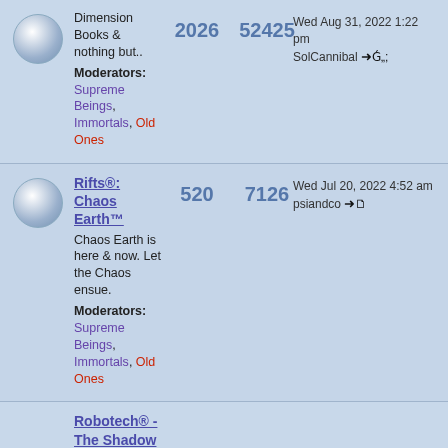Dimension Books & nothing but.. | 2026 | 52425 | Wed Aug 31, 2022 1:22 pm SolCannibal | Moderators: Supreme Beings, Immortals, Old Ones
Rifts®: Chaos Earth™ | Chaos Earth is here & now. Let the Chaos ensue. | 520 | 7126 | Wed Jul 20, 2022 4:52 am psiandco | Moderators: Supreme Beings, Immortals, Old Ones
Robotech® - The Shadow Chronicles® - Macross II® | Whether it is a Veritech or a Valkyrie, Robotech or Macross II, Earth is in danger eitherway. Grab your mecha and fight the good fight. | 2819 | 96870 | Sat Aug 27, 2022 11:24 pm Jefffar